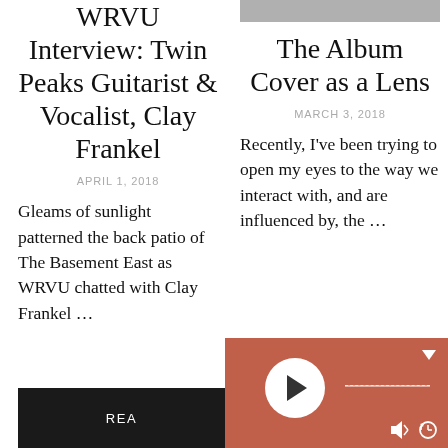[Figure (other): Gray image placeholder banner for WRVU Interview article]
WRVU Interview: Twin Peaks Guitarist & Vocalist, Clay Frankel
APRIL 1, 2018
Gleams of sunlight patterned the back patio of The Basement East as WRVU chatted with Clay Frankel …
[Figure (other): Gray image placeholder banner for The Album Cover article]
The Album Cover as a Lens
MARCH 3, 2018
Recently, I've been trying to open my eyes to the way we interact with, and are influenced by, the …
[Figure (other): Audio media player bar with play button, progress line, dropdown arrow, and media control icons on dark red/terracotta background]
READ